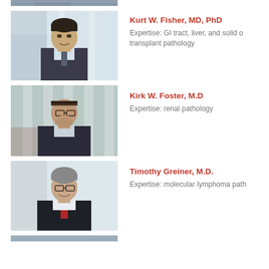[Figure (photo): Partial photo of person at top of page (cropped)]
[Figure (photo): Portrait photo of Kurt W. Fisher, MD, PhD - man in suit]
Kurt W. Fisher, MD, PhD
Expertise: GI tract, liver, and solid organ transplant pathology
[Figure (photo): Portrait photo of Kirk W. Foster, M.D. - man with glasses in suit]
Kirk W. Foster, M.D
Expertise: renal pathology
[Figure (photo): Portrait photo of Timothy Greiner, M.D. - older man with glasses in suit with red tie]
Timothy Greiner, M.D.
Expertise: molecular lymphoma pathology
[Figure (photo): Partial photo of next person at bottom of page (cropped)]